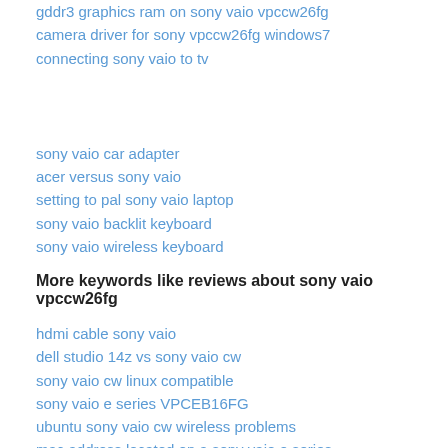gddr3 graphics ram on sony vaio vpccw26fg
camera driver for sony vpccw26fg windows7
connecting sony vaio to tv
sony vaio car adapter
acer versus sony vaio
setting to pal sony vaio laptop
sony vaio backlit keyboard
sony vaio wireless keyboard
More keywords like reviews about sony vaio vpccw26fg
hdmi cable sony vaio
dell studio 14z vs sony vaio cw
sony vaio cw linux compatible
sony vaio e series VPCEB16FG
ubuntu sony vaio cw wireless problems
mac address located on a sony vaio e series
sony vaio heat problem firmware fix